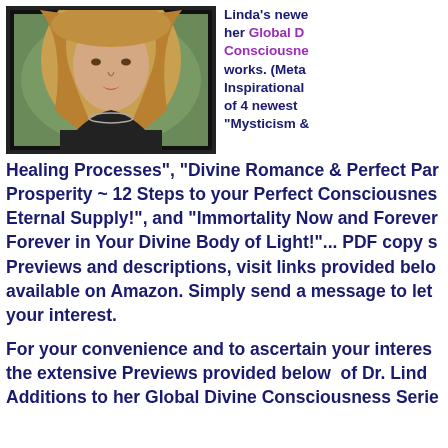[Figure (photo): Portrait photo of a woman with long blonde hair wearing a black top and necklace, framed by a dark border, with a green background visible behind her.]
Linda's newe her Global D Consciousne works. (Meta Inspirational of 4 newest "Mysticism & Healing Processes", "Divine Romance & Perfect Par Prosperity ~ 12 Steps to your Perfect Consciousnes Eternal Supply!", and "Immortality Now and Forever Forever in Your Divine Body of Light!"... PDF copy s Previews and descriptions, visit links provided belo available on Amazon. Simply send a message to let your interest.
For your convenience and to ascertain your interes the extensive Previews provided below of Dr. Lind Additions to her Global Divine Consciousness Serie